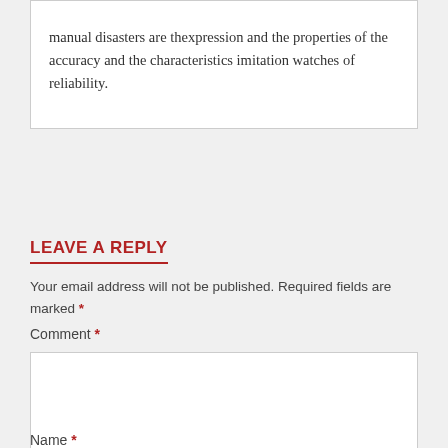manual disasters are thexpression and the properties of the accuracy and the characteristics imitation watches of reliability.
LEAVE A REPLY
Your email address will not be published. Required fields are marked *
Comment *
Name *